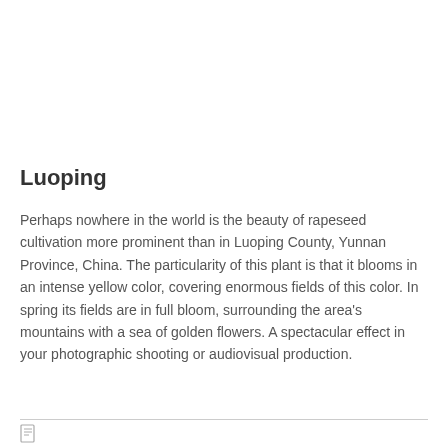Luoping
Perhaps nowhere in the world is the beauty of rapeseed cultivation more prominent than in Luoping County, Yunnan Province, China. The particularity of this plant is that it blooms in an intense yellow color, covering enormous fields of this color. In spring its fields are in full bloom, surrounding the area’s mountains with a sea of golden flowers. A spectacular effect in your photographic shooting or audiovisual production.